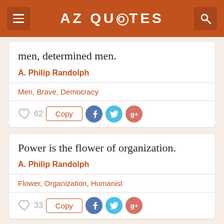AZ QUOTES
men, determined men.
A. Philip Randolph
Men, Brave, Democracy
62  Copy
Power is the flower of organization.
A. Philip Randolph
Flower, Organization, Humanist
33  Copy